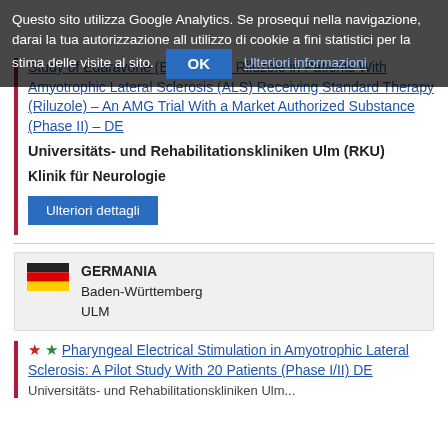Questo sito utilizza Google Analytics. Se prosequi nella navigazione, darai la tua autorizzazione all utilizzo di cookie a fini statistici per la stima delle visite al sito. OK Ulteriori informazioni
Study of Edaravone (E0302) and Riluzole in Patients With Amyotrophic Lateral Sclerosis (ALS) Receiving Standard Therapy (Riluzole) – An AMG Trial With a Market Authorized Substance (Phase II) – DE
Universitäts- und Rehabilitationskliniken Ulm (RKU)
Klinik für Neurologie
Ulteriori dettagli
GERMANIA
Baden-Württemberg
ULM
Pharyngeal Electrical Stimulation in Amyotrophic Lateral Sclerosis: A Pilot Study With 20 Patients (Phase I/II) DE
Universitäts- und Rehabilitationskliniken Ulm...